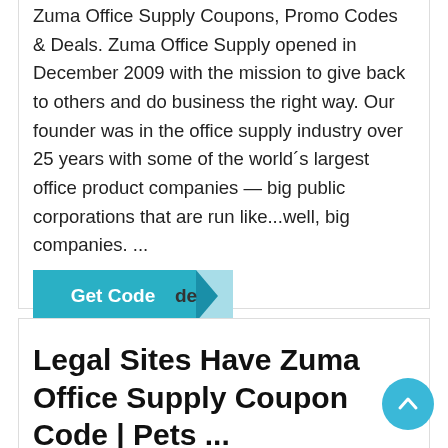Zuma Office Supply Coupons, Promo Codes & Deals. Zuma Office Supply opened in December 2009 with the mission to give back to others and do business the right way. Our founder was in the office supply industry over 25 years with some of the world´s largest office product companies — big public corporations that are run like...well, big companies. ...
[Figure (other): Teal 'Get Code' button with a folded corner effect revealing partial text 'de']
Legal Sites Have Zuma Office Supply Coupon Code | Pets ...
30% off From mypetscoupons.com
Zuma Office Supply Coupon Code. 30% off (13 days ago) 30% Off Zuma Office Supply Coupons & New Discount codes . 30% off (5 days ago) zuma